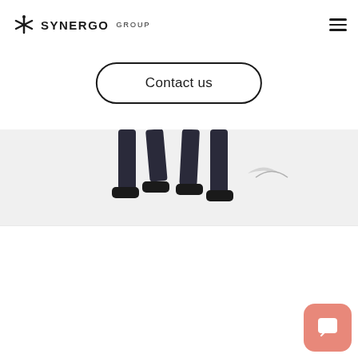[Figure (logo): Synergo Group logo with asterisk-like icon and text SYNERGO GROUP]
[Figure (other): Hamburger menu icon (three horizontal lines) in top right corner]
Contact us
[Figure (photo): Partial photo showing lower legs and feet of people walking, cropped at top]
Strategic Partners
[Figure (other): Salmon/coral colored chat bubble button in bottom right corner]